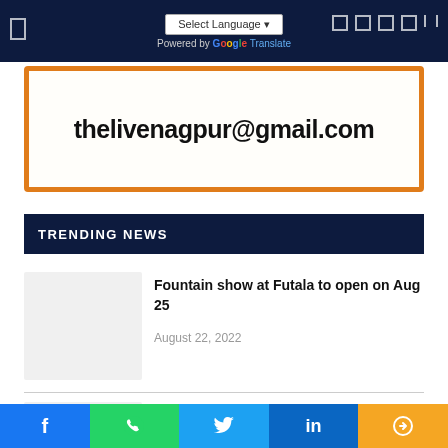Select Language | Powered by Google Translate
[Figure (other): Email address banner with orange border showing thelivenagpur@gmail.com]
TRENDING NEWS
[Figure (photo): Thumbnail image placeholder (light gray) for news article about Fountain show at Futala]
Fountain show at Futala to open on Aug 25
August 22, 2022
[Figure (photo): Thumbnail image placeholder (light gray) for news article about Rakesh Jhunjhunwala]
Rakesh Jhunjhunwala passes away
August 14, 2022
Facebook | WhatsApp | Twitter | LinkedIn | Share